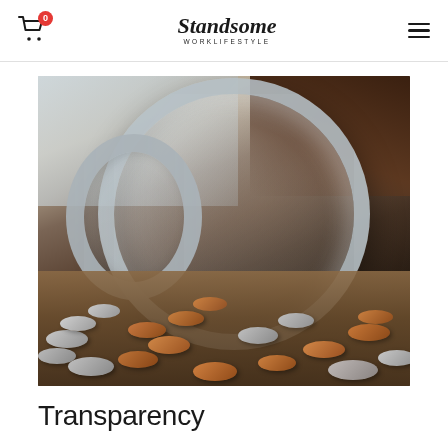Standsome WORKLIFESTYLE — navigation header with cart icon and menu
[Figure (photo): A glass jar tipped on its side with coins spilling out onto a wooden surface. The jar is metallic-rimmed, and various coins (copper and silver) are scattered around it on a warm wood-toned background.]
Transparency